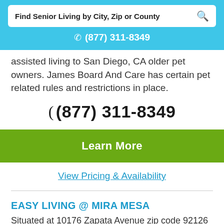Find Senior Living by City, Zip or County
(877) 311-8349
assisted living to San Diego, CA older pet owners. James Board And Care has certain pet related rules and restrictions in place.
(877) 311-8349
Learn More
View Pricing & Availability
EASY LIVING @ MIRA MESA
Situated at 10176 Zapata Avenue zip code 92126